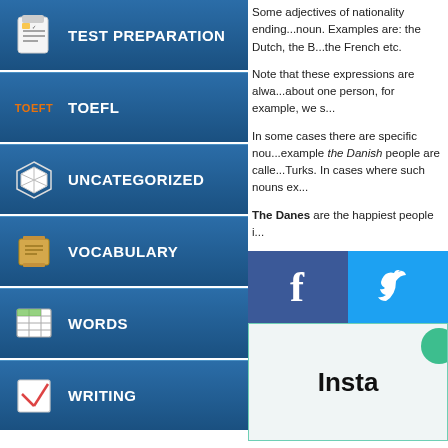TEST PREPARATION
TOEFL
UNCATEGORIZED
VOCABULARY
WORDS
WRITING
Follow @ESLUpdates
Some adjectives of nationality ending...noun. Examples are: the Dutch, the B...the French etc.
Note that these expressions are alwa...about one person, for example, we s...
In some cases there are specific nou...example the Danish people are calle...Turks. In cases where such nouns ex...
The Danes are the happiest people i...
[Figure (infographic): Facebook and Twitter share buttons]
Insta